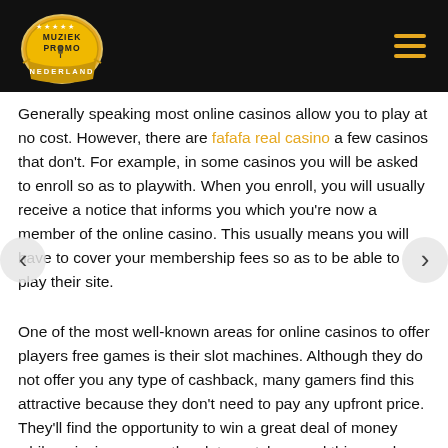[Figure (logo): Muziek Promo Nederland logo: oval badge with yellow/gold fill and text MUZIEK PROMO NEDERLAND with stars and microphone icon]
Generally speaking most online casinos allow you to play at no cost. However, there are fafafa real casino a few casinos that don't. For example, in some casinos you will be asked to enroll so as to playwith. When you enroll, you will usually receive a notice that informs you which you're now a member of the online casino. This usually means you will have to cover your membership fees so as to be able to play their site.
One of the most well-known areas for online casinos to offer players free games is their slot machines. Although they do not offer you any type of cashback, many gamers find this attractive because they don't need to pay any upfront price. They'll find the opportunity to win a great deal of money while enjoying among the slots matches, and this may be